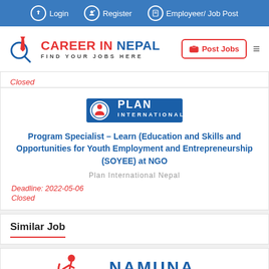Login  Register  Employeer/ Job Post
[Figure (logo): Career in Nepal logo with red tie and magnifying glass icon, text: CAREER IN NEPAL, FIND YOUR JOBS HERE]
Closed
[Figure (logo): Plan International logo - blue rectangle with globe and person icon, text: PLAN INTERNATIONAL]
Program Specialist – Learn (Education and Skills and Opportunities for Youth Employment and Entrepreneurship (SOYEE) at NGO
Plan International Nepal
Deadline: 2022-05-06
Closed
Similar Job
[Figure (logo): Namuna College of Fashion Technology logo - red figure icon with NAMUNA text in blue and COLLEGE OF FASHION TECHNOLOGY subtitle]